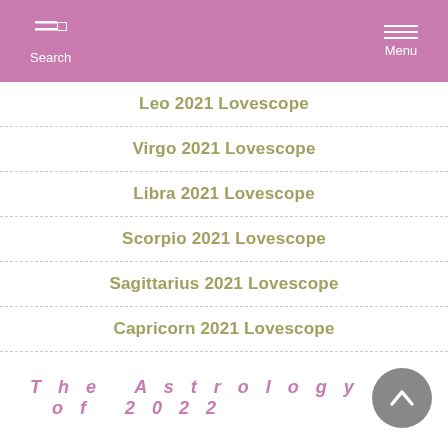Search  Menu
Leo 2021 Lovescope
Virgo 2021 Lovescope
Libra 2021 Lovescope
Scorpio 2021 Lovescope
Sagittarius 2021 Lovescope
Capricorn 2021 Lovescope
Aquarius 2021 Lovescope
Pisces 2021 Lovescope
2021 Yearly Lovescopes
The Astrology of 2022